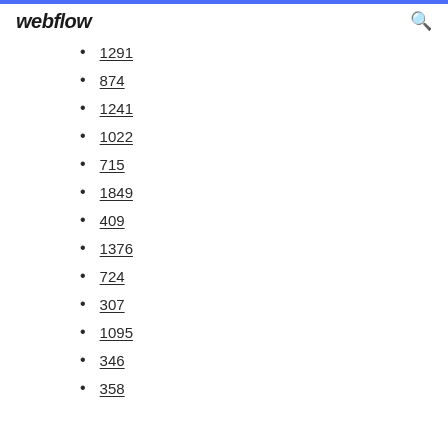webflow
1291
874
1241
1022
715
1849
409
1376
724
307
1095
346
358